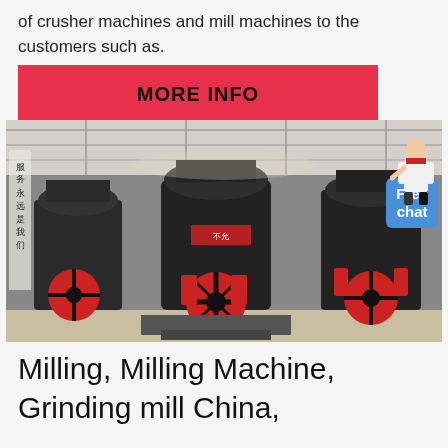of crusher machines and mill machines to the customers such as.
MORE INFO
[Figure (photo): Factory floor showing multiple large industrial cone crusher/milling machines in black with red flywheel accents, arranged in a row inside a warehouse. Chinese text banners visible on left wall. A woman figure and 'Free chat' bubble are overlaid at upper right.]
Milling, Milling Machine, Grinding mill China,